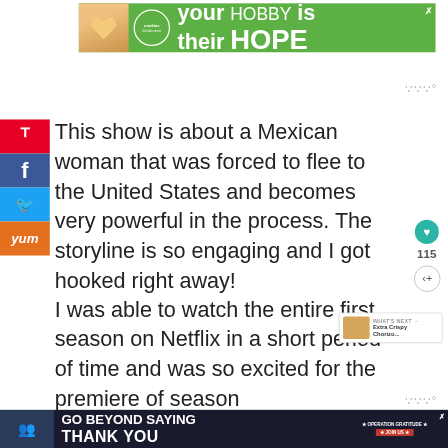[Figure (infographic): Top advertisement banner: green background with cookies for kids cancer logo (circle with text), hand holding heart shape, text reading 'your HOBBY is their HOPE' in white bold text, with X close button]
[Figure (infographic): Social media sharing sidebar with Pinterest (red, P icon), Facebook (dark blue, f icon), Twitter (light blue, bird icon), Yummly (orange, Yum text) buttons stacked vertically on left edge]
This show is about a Mexican woman that was forced to flee to the United States and becomes very powerful in the process. The storyline is so engaging and I got hooked right away!
[Figure (infographic): Heart/save button (teal circle with heart icon) with count 115, and share button below]
I was able to watch the entire first season on Netflix in a short period of time and was so excited for the premiere of season
[Figure (infographic): What's Next widget showing food image thumbnail with text 'WHAT'S NEXT → Extra Crispy Chorizo...']
[Figure (infographic): Bottom advertisement banner: dark blue background with military/people image, text 'GO BEYOND SAYING THANK YOU', Operation Gratitude logo with star, JOIN US button, X close button]
[Figure (infographic): Watermark icon (three vertical bars with degree symbol) appearing twice on right side]